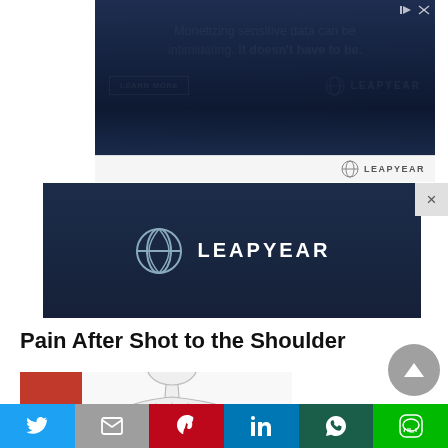[Figure (screenshot): Leapyear advertisement banner with dark blue background and text 'Monetizing sensitive data can be intimidating. It doesn't have to be.' with LEARN MORE button and Leapyear logo]
[Figure (screenshot): Second Leapyear dark navy banner with globe logo and LEAPYEAR text, with X close button on the right]
Pain After Shot to the Shoulder
[Figure (illustration): Medical illustration of human torso showing trigger point pain pattern on shoulder and upper arm area with red highlighting. Red sidebar on left with text 'Trigger Point Pattern']
[Figure (infographic): Social sharing bar with Twitter, Mail, Pinterest, LinkedIn, WhatsApp, and LINE buttons]